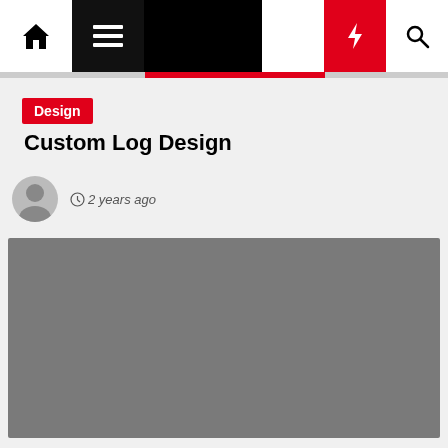Navigation bar with home, menu, moon, bolt, and search icons
Design
Custom Log Design
2 years ago
[Figure (photo): Gray placeholder image for article content]